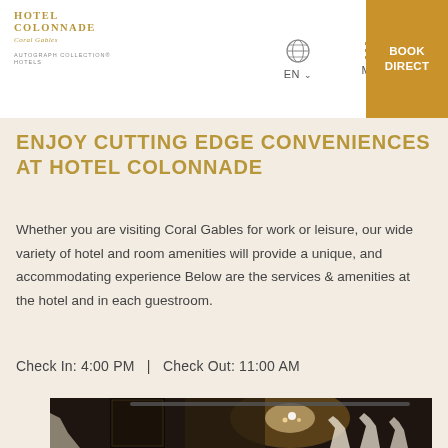HOTEL COLONNADE Coral Gables | AUTOGRAPH COLLECTION HOTELS | EN | MENU | BOOK DIRECT
ENJOY CUTTING EDGE CONVENIENCES AT HOTEL COLONNADE
Whether you are visiting Coral Gables for work or leisure, our wide variety of hotel and room amenities will provide a unique, and accommodating experience Below are the services & amenities at the hotel and in each guestroom.
Check In: 4:00 PM   |   Check Out: 11:00 AM
[Figure (photo): Interior photo of Hotel Colonnade showing decorative wall art with white silhouette figures on dark background, ornate ceiling details and lighting]